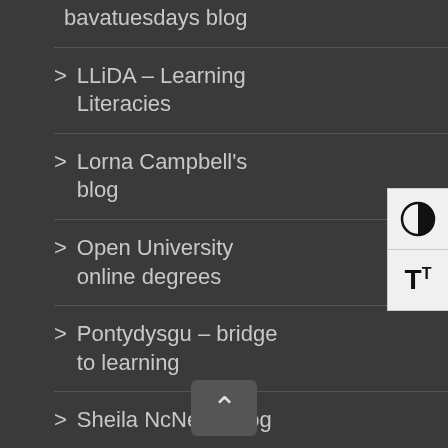bavatuesdays blog
LLiDA – Learning Literacies
Lorna Campbell's blog
Open University online degrees
Pontydysgu – bridge to learning
Sheila NcNeil's blog
The ed Tec